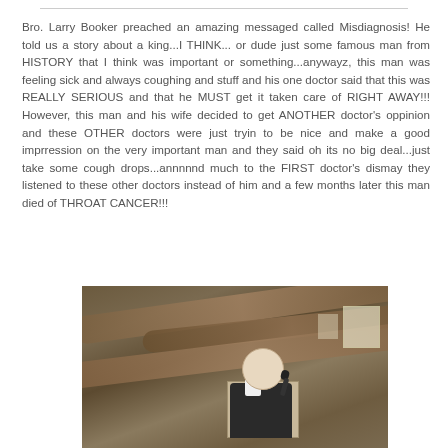Bro. Larry Booker preached an amazing messaged called Misdiagnosis! He told us a story about a king...I THINK... or dude just some famous man from HISTORY that I think was important or something...anywayz, this man was feeling sick and always coughing and stuff and his one doctor said that this was REALLY SERIOUS and that he MUST get it taken care of RIGHT AWAY!!! However, this man and his wife decided to get ANOTHER doctor's oppinion and these OTHER doctors were just tryin to be nice and make a good imprression on the very important man and they said oh its no big deal...just take some cough drops...annnnnd much to the FIRST doctor's dismay they listened to these other doctors instead of him and a few months later this man died of THROAT CANCER!!!
[Figure (photo): A man with white/grey hair standing at a podium inside a log cabin church, holding a microphone, with exposed log-beam ceiling visible above]